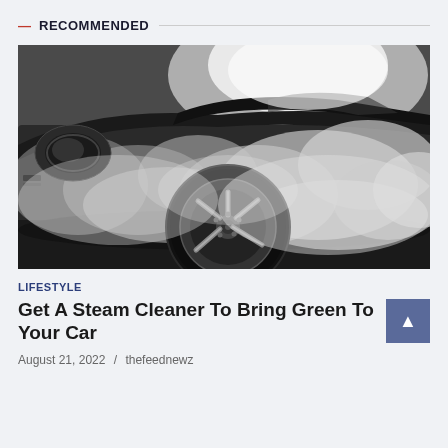— RECOMMENDED
[Figure (photo): Black and white photograph of a sports car wheel/tire with smoke surrounding it, dramatic automotive scene]
LIFESTYLE
Get A Steam Cleaner To Bring Green To Your Car
August 21, 2022 / thefeednewz